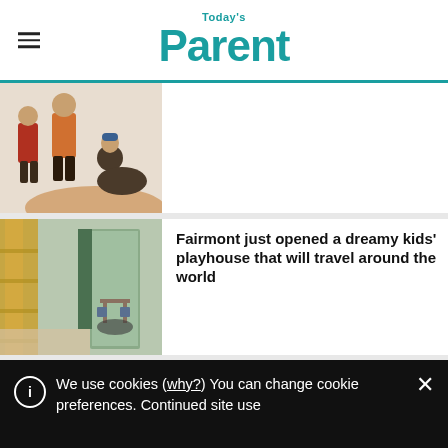Today's Parent
[Figure (illustration): Illustration of children figures being held in a hand, with one figure sitting cross-legged with a blue hat]
[Figure (photo): Interior photo of a dreamy kids' playhouse room with green walls, a small table, and a yellow slide]
Fairmont just opened a dreamy kids' playhouse that will travel around the world
[Figure (photo): Close-up photo of a sleeping baby or child, partially visible]
Sleep training is a gift I gave my kids
We use cookies (why?) You can change cookie preferences. Continued site use